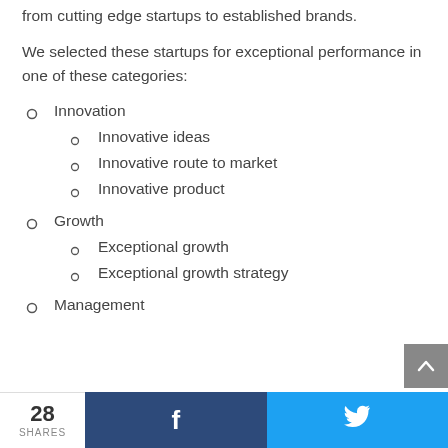from cutting edge startups to established brands.
We selected these startups for exceptional performance in one of these categories:
Innovation
Innovative ideas
Innovative route to market
Innovative product
Growth
Exceptional growth
Exceptional growth strategy
Management
28 SHARES  f  (Twitter bird icon)